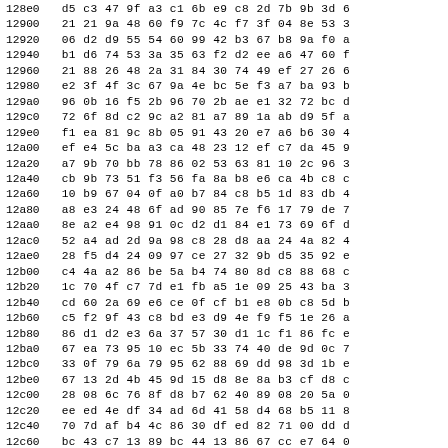| Address | Bytes |
| --- | --- |
| 128e0 | d5 c3 47 9f a3 c1 6b e9 c8 2d 7b 9b 3d 6 |
| 12900 | 21 21 9a 48 60 f9 7c 4c f7 3f 04 8e 53 3 |
| 12920 | 06 d2 d9 55 54 60 99 42 b3 67 b8 9a f0 a |
| 12940 | b1 d6 74 53 3a 35 63 f2 d2 ee a6 47 60 f |
| 12960 | 21 88 26 48 2a 31 84 30 74 49 ef 27 26 6 |
| 12980 | e2 3f 4f 3c 67 9a 4e bc 5e f3 a7 ba 93 b |
| 129a0 | 96 0b 16 f5 2b 96 70 2b ae e1 32 72 bc d |
| 129c0 | 72 6f 8d c2 9c a2 81 a7 89 1a ab d9 5f a |
| 129e0 | f1 ea 81 9c 8b 05 91 43 20 e7 a6 b6 30 4 |
| 12a00 | ef e4 5c ba a3 ca 48 23 12 ef c7 da 45 9 |
| 12a20 | a7 9b 70 bb 78 86 02 53 63 81 10 2c 96 3 |
| 12a40 | cb 9b 73 51 f3 56 fa 8a b8 e6 ca 4b c8 c |
| 12a60 | 10 b9 67 04 0f a0 b7 84 c8 b5 1d 83 db 4 |
| 12a80 | a8 e3 24 48 6f ad 90 85 7e f6 17 79 de 7 |
| 12aa0 | 8e a2 e4 98 91 0c d2 d1 84 e1 73 69 6f d |
| 12ac0 | 52 a4 ad 2d 9a 98 c8 28 d8 aa 24 4a 82 4 |
| 12ae0 | 28 f5 d4 24 09 97 ce 27 32 9b d5 35 92 e |
| 12b00 | c4 4a a2 86 be 5a b4 74 80 8d c8 88 68 c |
| 12b20 | 1c 70 4f c7 7d e1 fb a5 1e 09 25 43 ba 3 |
| 12b40 | cd 60 2a 69 e6 ce 0f cf b1 e8 0b c8 5d b |
| 12b60 | c5 f2 9f 43 c8 bd e3 d9 4e f9 f5 1e 26 a |
| 12b80 | 86 d1 d2 e3 6a 37 57 30 d1 1c f1 86 fc e |
| 12ba0 | 67 ea 73 95 10 ec 5b 33 74 40 de 9d 0c 7 |
| 12bc0 | 33 0f 79 6a 79 95 62 88 69 dd 98 3d 1b e |
| 12be0 | 67 13 2d 4b 45 9d 15 d8 8e 8a b3 cf d8 c |
| 12c00 | 28 08 6c 76 8f d8 b7 62 40 89 08 20 5a 0 |
| 12c20 | ee ed 4e df 34 ad 6d 41 58 d4 68 b5 11 8 |
| 12c40 | 70 7d af b4 4c 86 30 df ed 82 71 00 dd d |
| 12c60 | bc 43 c7 13 89 bc 44 13 86 67 cc e7 64 0 |
| 12c80 | 52 6f e6 1a e0 ab ae c2 d9 f6 eb 72 2d |